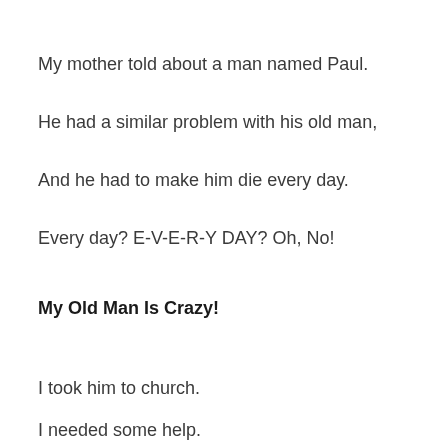My mother told about a man named Paul.
He had a similar problem with his old man,
And he had to make him die every day.
Every day? E-V-E-R-Y DAY? Oh, No!
My Old Man Is Crazy!
I took him to church.
I needed some help.